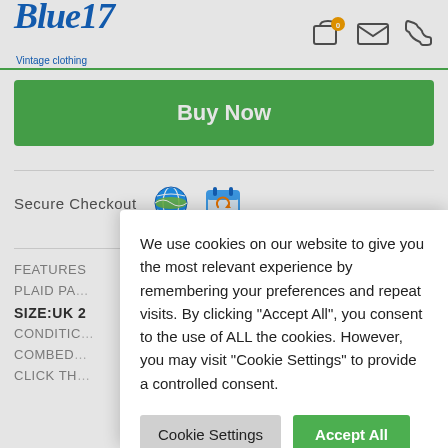Blue17 Vintage Clothing
Buy Now
Secure Checkout
FEATURES
PLAID PA
SIZE:UK 2
CONDITIC
COMBED
CLICK TH
We use cookies on our website to give you the most relevant experience by remembering your preferences and repeat visits. By clicking "Accept All", you consent to the use of ALL the cookies. However, you may visit "Cookie Settings" to provide a controlled consent.
Cookie Settings
Accept All